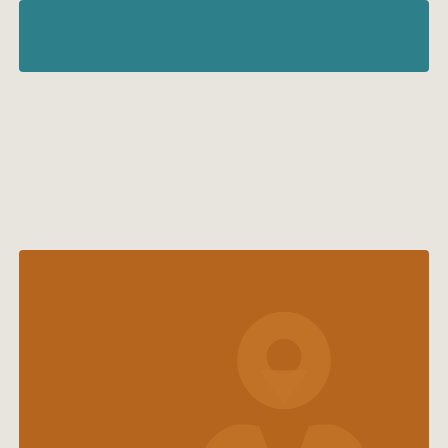[Figure (other): Teal/dark cyan banner bar at top of page]
[Figure (illustration): Brown card with a map pin location icon (lighter brown silhouette) on a brown background. Contains title 'Town Maps' and subtitle 'D ALL THE MAPS YOU NEED' with an accessibility button (purple circle with person icon) and a Google Translate 'Select Language' dropdown widget.]
Town Maps
D ALL THE MAPS YOU NEED
Select Language